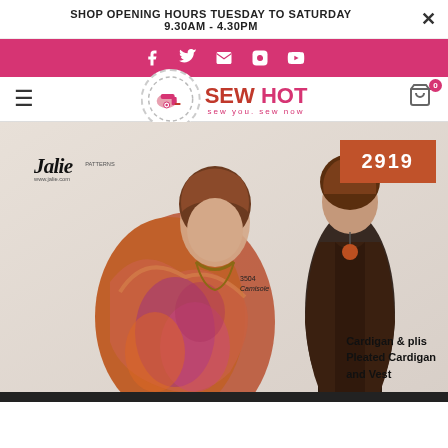SHOP OPENING HOURS TUESDAY TO SATURDAY
9.30AM - 4.30PM
[Figure (infographic): Pink social media bar with Facebook, Twitter, email, Instagram, YouTube icons in white]
[Figure (logo): Sew Hot logo with sewing machine icon in dotted circle, red and pink text 'SEW HOT', tagline 'sew you sew now']
[Figure (photo): Product photo showing two female models: one wearing a colorful printed cardigan, another wearing a dark sleeveless vest. Pattern number 2919 shown in orange box. Jalie brand logo visible. Text: 3504 Camisole. Cardigan & plis Pleated Cardigan and Vest.]
Cardigan & plis Pleated Cardigan and Vest